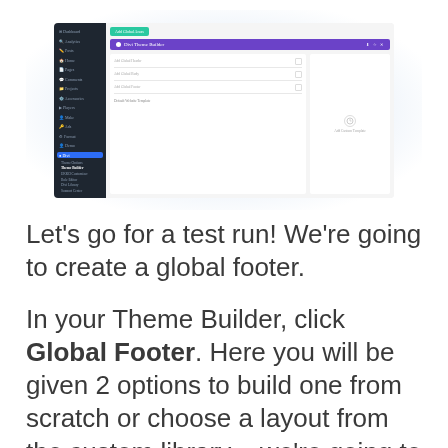[Figure (screenshot): Screenshot of Divi Theme Builder interface showing the WordPress admin sidebar on the left and the Theme Builder panel with a purple header bar labeled 'Divi Theme Builder', showing left panel with template rows and a right panel placeholder area.]
Let's go for a test run! We're going to create a global footer.
In your Theme Builder, click Global Footer. Here you will be given 2 options to build one from scratch or choose a layout from the custom library – we're going to use a layout